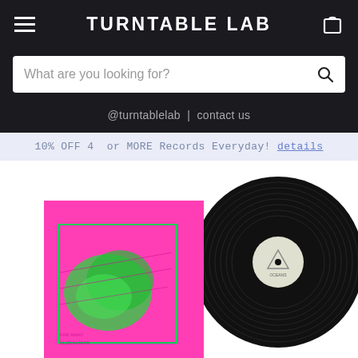TURNTABLE LAB
What are you looking for?
@turntablelab | contact us
10% OFF 4  or MORE Records Everyday! details
[Figure (photo): A pink vinyl record album cover with 'OCEANS' text in green, featuring an abstract green image on the cover, with a black vinyl record partially visible behind it, displayed on a white background.]